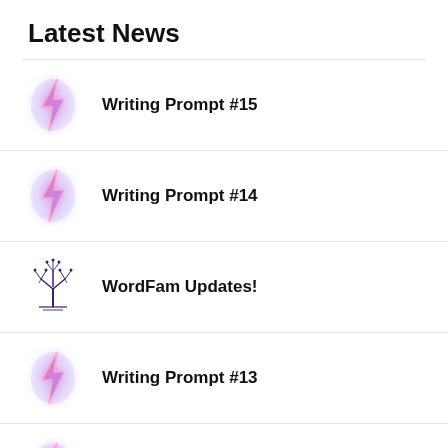Latest News
Writing Prompt #15
Writing Prompt #14
WordFam Updates!
Writing Prompt #13
Writing Prompt #12